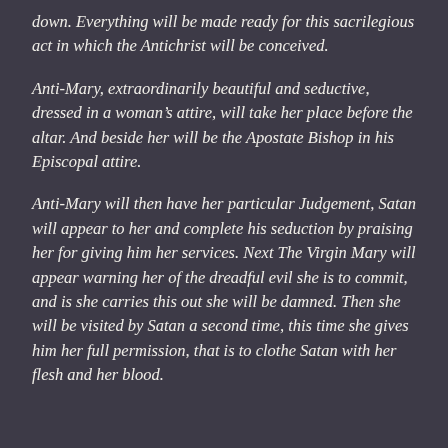down. Everything will be made ready for this sacrilegious act in which the Antichrist will be conceived.
Anti-Mary, extraordinarily beautiful and seductive, dressed in a woman’s attire, will take her place before the altar. And beside her will be the Apostate Bishop in his Episcopal attire.
Anti-Mary will then have her particular Judgement, Satan will appear to her and complete his seduction by praising her for giving him her services. Next The Virgin Mary will appear warning her of the dreadful evil she is to commit, and is she carries this out she will be damned. Then she will be visited by Satan a second time, this time she gives him her full permission, that is to clothe Satan with her flesh and her blood.